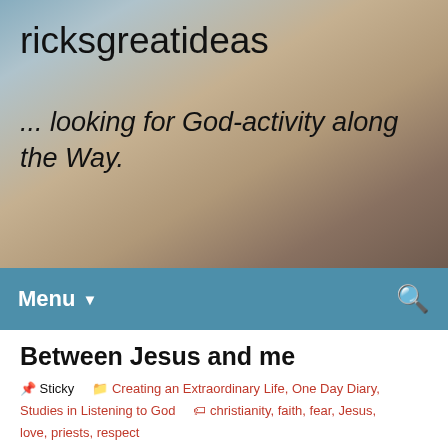[Figure (photo): Website header with coastal/beach landscape background image in muted tones of blue, tan, and brown]
ricksgreatideas
... looking for God-activity along the Way.
Menu ▾
Between Jesus and me
📌 Sticky    🗂 Creating an Extraordinary Life, One Day Diary, Studies in Listening to God    🏷 christianity, faith, fear, Jesus, love, priests, respect
Privacy & Cookies: This site uses cookies. By continuing to use this website, you agree to their use.
To find out more, including how to control cookies, see here: Cookie Policy

Close and accept